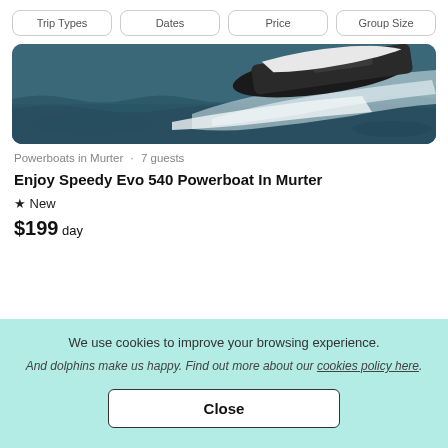Trip Types  Dates  Price  Group Size
[Figure (photo): Aerial or side view of a white powerboat speeding through choppy dark blue ocean water, creating white wake.]
Powerboats in Murter · 7 guests
Enjoy Speedy Evo 540 Powerboat In Murter
★ New
$199 day
We use cookies to improve your browsing experience.
And dolphins make us happy. Find out more about our cookies policy here.
Close